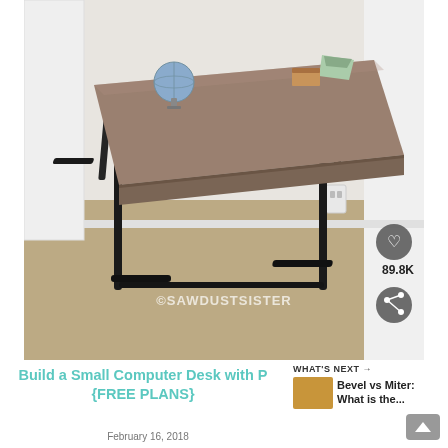[Figure (photo): Photo of a DIY small computer desk with a grey-brown wooden top and black metal tube frame legs, placed on a beige carpet against a white wall. Items on desk include a globe, a small plant terrarium, and a wooden box. Watermark reads ©SAWDUSTSISTER. Social media overlay shows heart icon and 89.8K saves, and a share icon.]
Build a Small Computer Desk with Pipes {FREE PLANS}
WHAT'S NEXT → Bevel vs Miter: What is the...
February 16, 2018